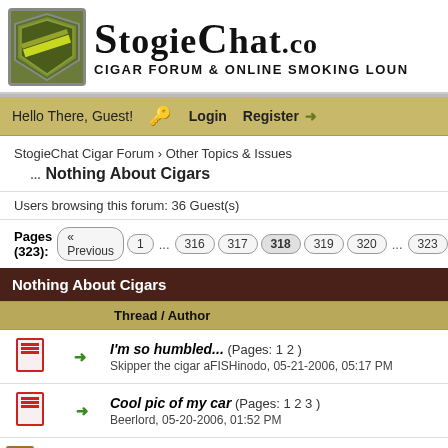StogieChat.co — CIGAR FORUM & ONLINE SMOKING LOUNGE
Hello There, Guest! Login Register →
StogieChat Cigar Forum › Other Topics & Issues
Nothing About Cigars
Users browsing this forum: 36 Guest(s)
Pages (323): « Previous 1 ... 316 317 318 319 320 ... 323 Next »
| Thread / Author |
| --- |
| → I'm so humbled... (Pages: 1 2)
Skipper the cigar aFISHinodo, 05-21-2006, 05:17 PM |
| → Cool pic of my car (Pages: 1 2 3)
Beerlord, 05-20-2006, 01:52 PM |
| → Who is Escher? (Pages: 1 2) |